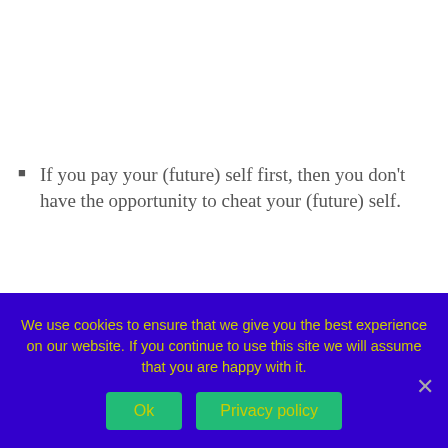If you pay your (future) self first, then you don't have the opportunity to cheat your (future) self.
If you pay yourself last, there will always be some pressing reason – a trip abroad with your friends, that new gizmo you've wanted for, oh, weeks now – why you can't afford to pay yourself this month.
We use cookies to ensure that we give you the best experience on our website. If you continue to use this site we will assume that you are happy with it.